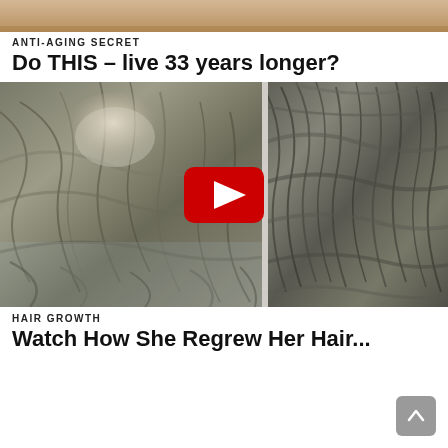[Figure (photo): Top portion of a person's head/hair, cropped, forming a banner image at the top of the page]
ANTI-AGING SECRET
Do THIS – live 33 years longer?
[Figure (screenshot): Before-and-after comparison photo of hair growth, split into two panels divided by a vertical line. Left panel shows thinning hair with visible scalp. Right panel shows fuller, denser hair. A YouTube play button (red rectangle with white triangle) is overlaid in the center.]
HAIR GROWTH
Watch How She Regrew Her Hair...